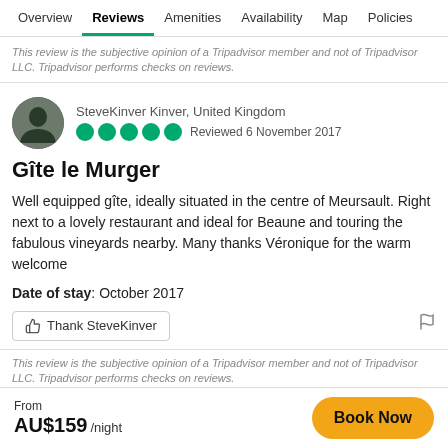Overview | Reviews | Amenities | Availability | Map | Policies
This review is the subjective opinion of a Tripadvisor member and not of Tripadvisor LLC. Tripadvisor performs checks on reviews.
SteveKinver Kinver, United Kingdom
Reviewed 6 November 2017
Gîte le Murger
Well equipped gîte, ideally situated in the centre of Meursault. Right next to a lovely restaurant and ideal for Beaune and touring the fabulous vineyards nearby. Many thanks Véronique for the warm welcome
Date of stay: October 2017
This review is the subjective opinion of a Tripadvisor member and not of Tripadvisor LLC. Tripadvisor performs checks on reviews.
From AU$159 /night
Book Now